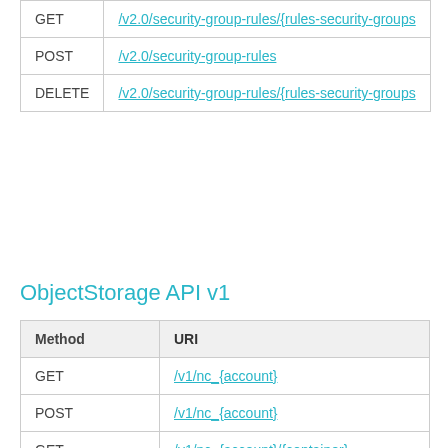| Method | URI |
| --- | --- |
| GET | /v2.0/security-group-rules/{rules-security-groups |
| POST | /v2.0/security-group-rules |
| DELETE | /v2.0/security-group-rules/{rules-security-groups |
ObjectStorage API v1
| Method | URI |
| --- | --- |
| GET | /v1/nc_{account} |
| POST | /v1/nc_{account} |
| GET | /v1/nc_{account}/{container} |